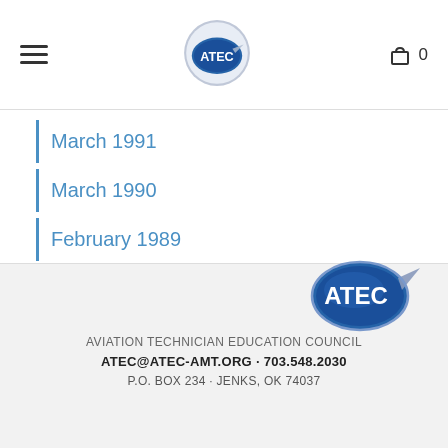ATEC navigation header with logo and cart
March 1991
March 1990
February 1989
December 1988
[Figure (logo): ATEC Aviation Technician Education Council logo - blue oval with ATEC text and wing graphic]
AVIATION TECHNICIAN EDUCATION COUNCIL
ATEC@ATEC-AMT.ORG • 703.548.2030
P.O. BOX 234 • JENKS, OK 74037